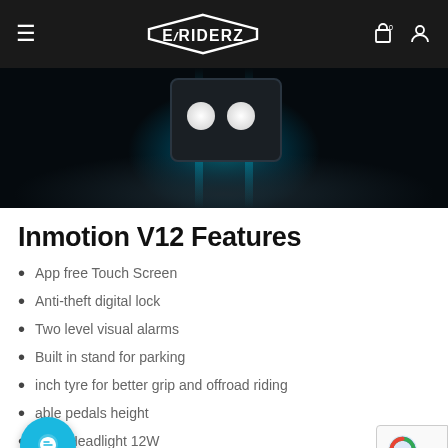E/RIDERZ
[Figure (photo): Dark dramatic product hero image of the Inmotion V12 electric unicycle with teal/cyan LED lighting effects against dark smoky background, showing the front headlight area]
Inmotion V12 Features
App free Touch Screen
Anti-theft digital lock
Two level visual alarms
Built in stand for parking
inch tyre for better grip and offroad riding
able pedals height
Auto Headlight 12W